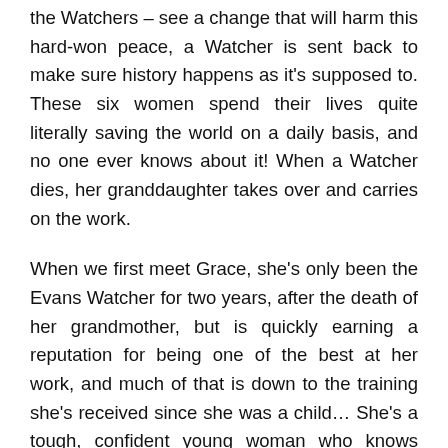the Watchers – see a change that will harm this hard-won peace, a Watcher is sent back to make sure history happens as it's supposed to. These six women spend their lives quite literally saving the world on a daily basis, and no one ever knows about it! When a Watcher dies, her granddaughter takes over and carries on the work.
When we first meet Grace, she's only been the Evans Watcher for two years, after the death of her grandmother, but is quickly earning a reputation for being one of the best at her work, and much of that is down to the training she's received since she was a child… She's a tough, confident young woman who knows what she can do and trusts in her ability to get the job done, and doesn't take crap from anyone.